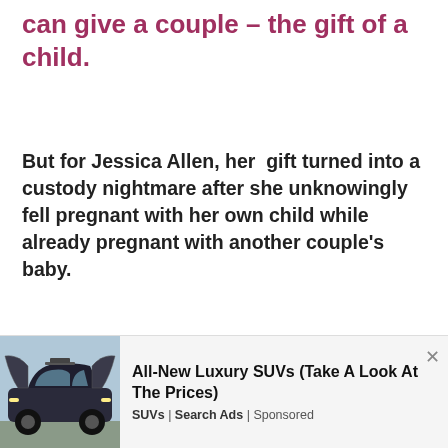can give a couple – the gift of a child.
But for Jessica Allen, her  gift turned into a custody nightmare after she unknowingly fell pregnant with her own child while already pregnant with another couple's baby.
In a story that has made headlines around the world, US Mum Jessica Allen has come forward with her emotional battle to bring her biological son home.
[Figure (illustration): Advertisement showing a luxury black SUV with gull-wing doors open, parked outdoors]
All-New Luxury SUVs (Take A Look At The Prices)
SUVs | Search Ads | Sponsored